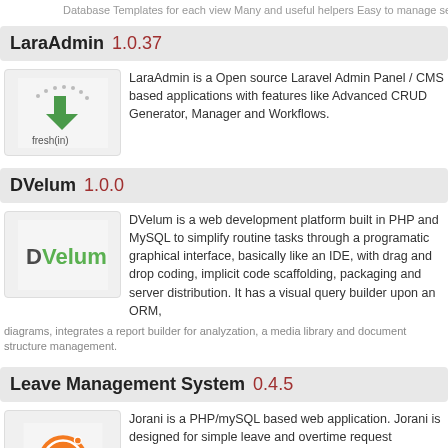Database Templates for each view Many and useful helpers Easy to manage secure and fast
LaraAdmin 1.0.37
[Figure (logo): fresh(in) logo with green download arrow and dots]
LaraAdmin is a Open source Laravel Admin Panel / CMS based applications with features like Advanced CRUD Generator, Manager and Workflows.
DVelum 1.0.0
[Figure (logo): DVelum logo green text]
DVelum is a web development platform built in PHP and MySQL to simplify routine tasks through a programatic graphical interface, basically like an IDE, with drag and drop coding, implicit code scaffolding, packaging and server distribution. It has a visual query builder upon an ORM, diagrams, integrates a report builder for analyzation, a media library and document structure management.
Leave Management System 0.4.5
[Figure (logo): Jorani orange circular logo with J letter]
Jorani is a PHP/mySQL based web application. Jorani is designed for simple leave and overtime request workflows for small organizations. Its features are Notifications by e-mail, various reports, various types of export features (webcal, ics, excel). In opposition with similar sofware, Jorani is completly free and open source software with no hidden costs.
tina4stack 1.0.4